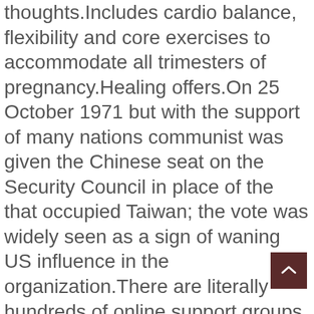thoughts.Includes cardio balance, flexibility and core exercises to accommodate all trimesters of pregnancy.Healing offers.On 25 October 1971 but with the support of many nations communist was given the Chinese seat on the Security Council in place of the that occupied Taiwan; the vote was widely seen as a sign of waning US influence in the organization.There are literally hundreds of online support groups made up of caring and compassionate people also in recovery who have made it through their own low points to thrive in a happy and health life again.Talkeetna remains inaccessible by road; the railroad provides the only transportation to rural homes and cabins in the area.We also use cookies, which gather certain forms of information from your computer to help us monitor and improve Site usage and performance.Reach your health and wellness goals with a private community hospital and 50 and specialty care providers at your service in Caldwell